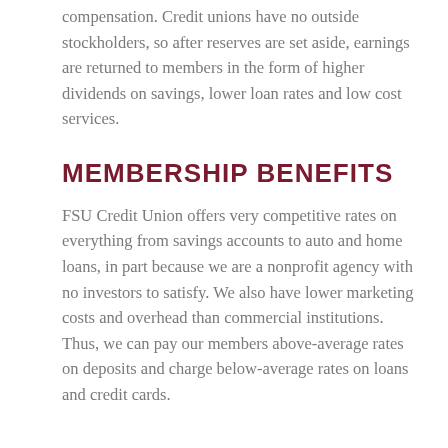compensation. Credit unions have no outside stockholders, so after reserves are set aside, earnings are returned to members in the form of higher dividends on savings, lower loan rates and low cost services.
MEMBERSHIP BENEFITS
FSU Credit Union offers very competitive rates on everything from savings accounts to auto and home loans, in part because we are a nonprofit agency with no investors to satisfy. We also have lower marketing costs and overhead than commercial institutions. Thus, we can pay our members above-average rates on deposits and charge below-average rates on loans and credit cards.